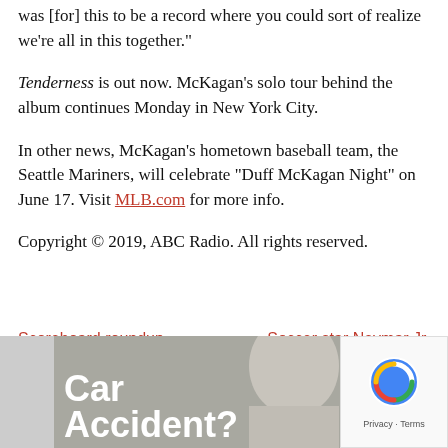was [for] this to be a record where you could sort of realize we’re all in this together.”
Tenderness is out now. McKagan’s solo tour behind the album continues Monday in New York City.
In other news, McKagan’s hometown baseball team, the Seattle Mariners, will celebrate “Duff McKagan Night” on June 17. Visit MLB.com for more info.
Copyright © 2019, ABC Radio. All rights reserved.
Scoreboard roundup — 6/1/19
Soccer star Neymar Jr. accused of rape, father denies wrongdoing
[Figure (photo): Bottom portion of page showing a partially visible image with white bold text reading 'Car Accidents?' and a person's head visible, with a reCAPTCHA badge in the lower right corner]